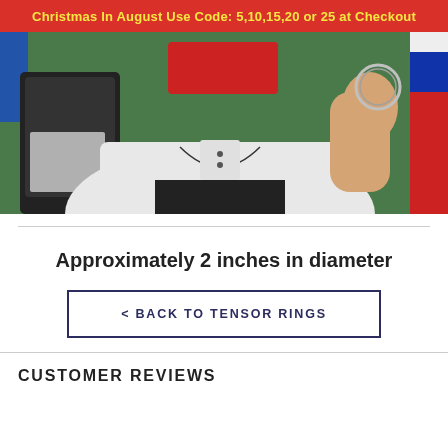Christmas In August Use Code: 5,10,15,20 or 25 at Checkout
[Figure (photo): Screenshot of a man in a white shirt holding up a small ring (tensor ring) against a green background, with a flag visible on the right side. A red blurred rectangle covers his face.]
Approximately 2 inches in diameter
< BACK TO TENSOR RINGS
CUSTOMER REVIEWS